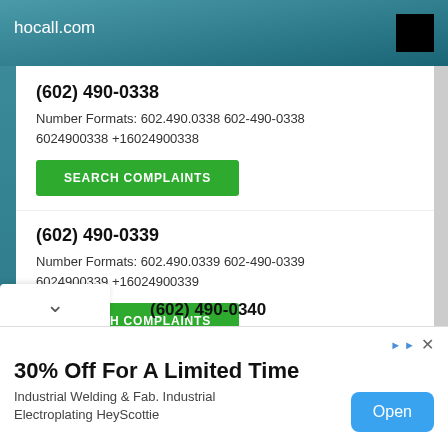hocall.com
(602) 490-0338
Number Formats: 602.490.0338 602-490-0338 6024900338 +16024900338
SEARCH COMPLAINTS
(602) 490-0339
Number Formats: 602.490.0339 602-490-0339 6024900339 +16024900339
SEARCH COMPLAINTS
(602) 490-0340
30% Off For A Limited Time
Industrial Welding & Fab. Industrial Electroplating HeyScottie
Open